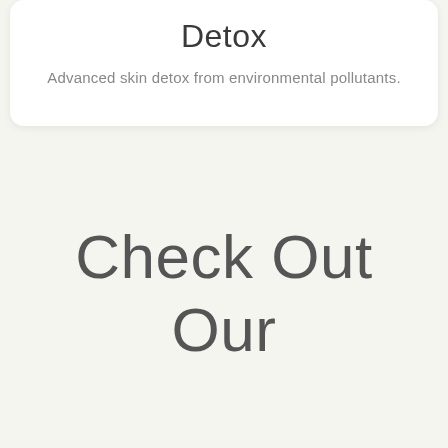Detox
Advanced skin detox from environmental pollutants.
Check Out Our Most Popular Masks...